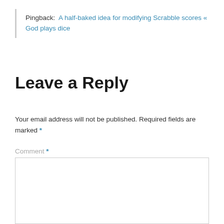Pingback:  A half-baked idea for modifying Scrabble scores « God plays dice
Leave a Reply
Your email address will not be published. Required fields are marked *
Comment *